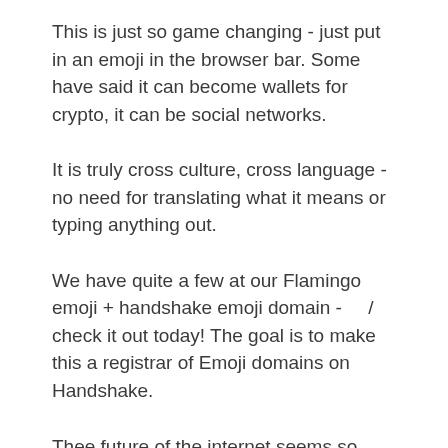This is just so game changing - just put in an emoji in the browser bar. Some have said it can become wallets for crypto, it can be social networks.
It is truly cross culture, cross language - no need for translating what it means or typing anything out.
We have quite a few at our Flamingo emoji + handshake emoji domain -    / check it out today! The goal is to make this a registrar of Emoji domains on Handshake.
Thee future of the internet seems so unique, creative, and exciting
References: